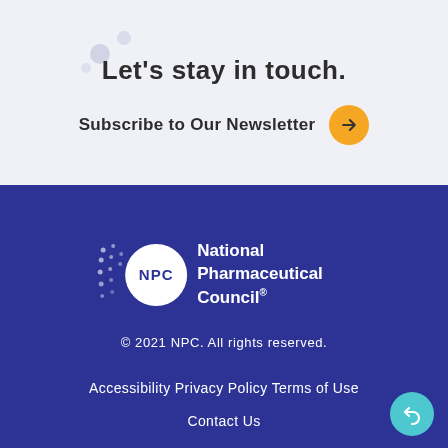Let's stay in touch.
Subscribe to Our Newsletter →
[Figure (logo): National Pharmaceutical Council (NPC) logo with white circle badge and dot pattern on dark blue background]
© 2021 NPC. All rights reserved.
Accessibility
Privacy Policy
Terms of Use
Contact Us